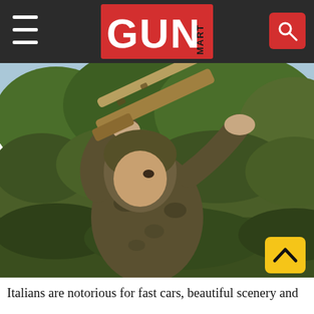GUN MART
[Figure (photo): A hunter in camouflage clothing aiming a camouflage-patterned shotgun upward, with green bushes and trees in the background.]
Italians are notorious for fast cars, beautiful scenery and